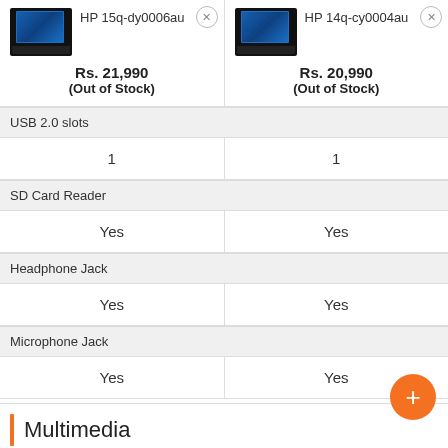[Figure (screenshot): Product comparison page showing two HP laptops: HP 15q-dy0006au at Rs. 21,990 (Out of Stock) and HP 14q-cy0004au at Rs. 20,990 (Out of Stock), with specs including USB 2.0 slots, SD Card Reader, Headphone Jack, Microphone Jack, and Multimedia/Web-cam sections.]
| Feature | HP 15q-dy0006au | HP 14q-cy0004au |
| --- | --- | --- |
| USB 2.0 slots | 1 | 1 |
| SD Card Reader | Yes | Yes |
| Headphone Jack | Yes | Yes |
| Microphone Jack | Yes | Yes |
| Web-cam |  |  |
Multimedia
Web-cam